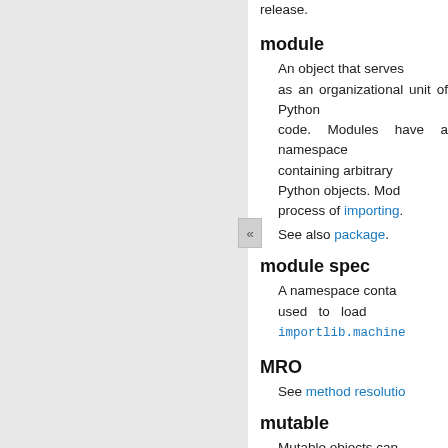release.
module
An object that serves as an organizational unit of Python code. Modules have a namespace containing arbitrary Python objects. Modules are loaded into Python by the process of importing.
See also package.
module spec
A namespace containing the import-related information used to load a module. An instance of importlib.machinery.ModuleSpec.
MRO
See method resolution order.
mutable
Mutable objects can change their value but keep their id(). See also immutable.